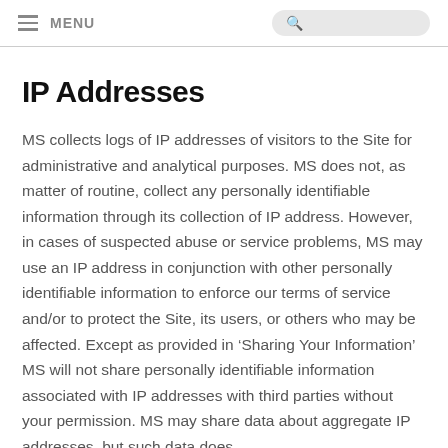MENU
IP Addresses
MS collects logs of IP addresses of visitors to the Site for administrative and analytical purposes. MS does not, as matter of routine, collect any personally identifiable information through its collection of IP address. However, in cases of suspected abuse or service problems, MS may use an IP address in conjunction with other personally identifiable information to enforce our terms of service and/or to protect the Site, its users, or others who may be affected. Except as provided in ‘Sharing Your Information’ MS will not share personally identifiable information associated with IP addresses with third parties without your permission. MS may share data about aggregate IP addresses, but such data does